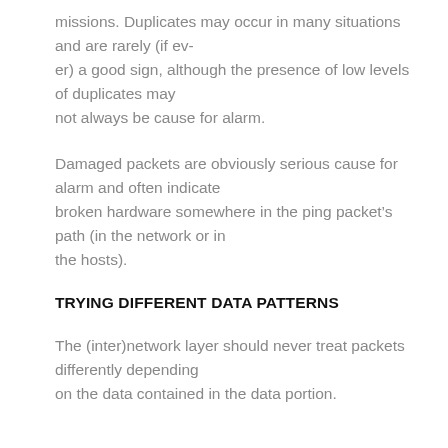missions. Duplicates may occur in many situations and are rarely (if ever) a good sign, although the presence of low levels of duplicates may not always be cause for alarm.
Damaged packets are obviously serious cause for alarm and often indicate broken hardware somewhere in the ping packet’s path (in the network or in the hosts).
TRYING DIFFERENT DATA PATTERNS
The (inter)network layer should never treat packets differently depending on the data contained in the data portion.